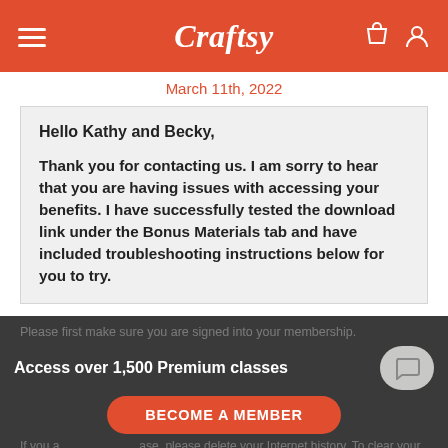Craftsy
March 11th, 2022
Hello Kathy and Becky,

Thank you for contacting us. I am sorry to hear that you are having issues with accessing your benefits. I have successfully tested the download link under the Bonus Materials tab and have included troubleshooting instructions below for you to try.
Access over 1,500 Premium classes
BECOME A MEMBER
Please first make sure you are signed into your membership.

If you are using an internet browser, please delete your Internet history. To clear your